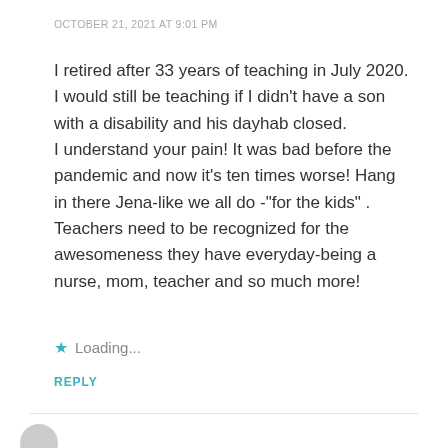OCTOBER 21, 2021 AT 9:01 PM
I retired after 33 years of teaching in July 2020. I would still be teaching if I didn't have a son with a disability and his dayhab closed. I understand your pain! It was bad before the pandemic and now it’s ten times worse! Hang in there Jena-like we all do -“for the kids” . Teachers need to be recognized for the awesomeness they have everyday-being a nurse, mom, teacher and so much more!
Loading...
REPLY